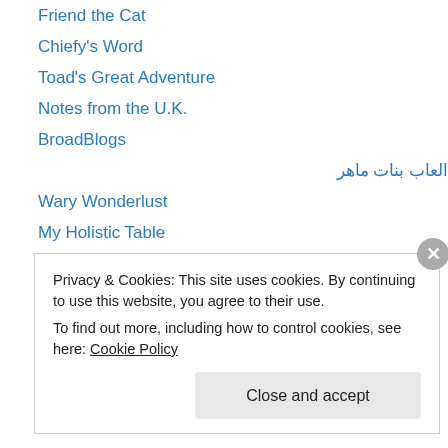Friend the Cat
Chiefy's Word
Toad's Great Adventure
Notes from the U.K.
BroadBlogs
العاب بنات ماهر
Wary Wonderlust
My Holistic Table
The Arm Chair Pontificator
A Narcissist Writes Letters, To Himself
Ben's Bitter Blog
All Romance Reads
richardmarlowe236
Privacy & Cookies: This site uses cookies. By continuing to use this website, you agree to their use. To find out more, including how to control cookies, see here: Cookie Policy